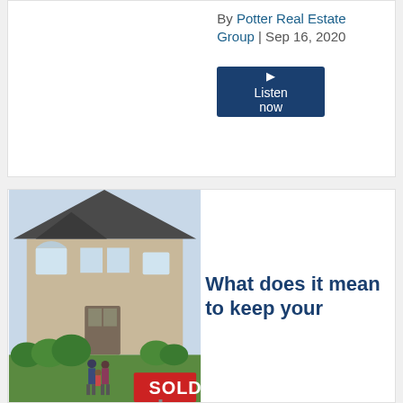By Potter Real Estate Group | Sep 16, 2020
[Figure (other): Dark blue button with play triangle icon and text 'Listen now']
[Figure (photo): Photo of a large brick house with a family (man, woman, child) walking toward it on a path, with a SOLD sign in the foreground and green bushes/landscaping]
What does it mean to keep your